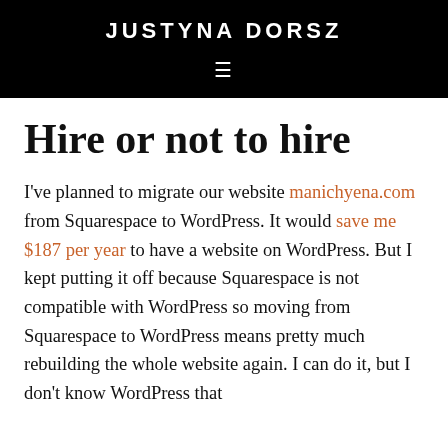JUSTYNA DORSZ
Hire or not to hire
I've planned to migrate our website manichyena.com from Squarespace to WordPress. It would save me $187 per year to have a website on WordPress. But I kept putting it off because Squarespace is not compatible with WordPress so moving from Squarespace to WordPress means pretty much rebuilding the whole website again. I can do it, but I don't know WordPress that